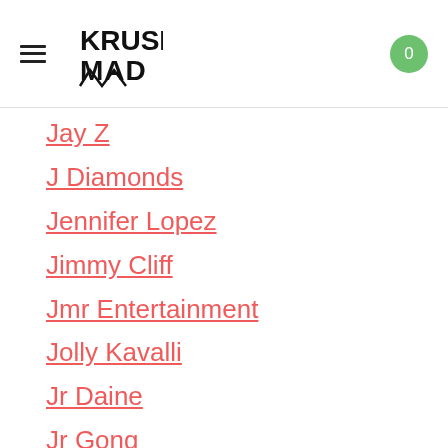Krush Mad — navigation header with hamburger menu and cart badge showing 0
Jay Z
J Diamonds
Jennifer Lopez
Jimmy Cliff
Jmr Entertainment
Jolly Kavalli
Jr Daine
Jr Gong
Juke Boxx Records
Jutc
Kalado
Kanye West
Kapella Don
Karrueche
Khago